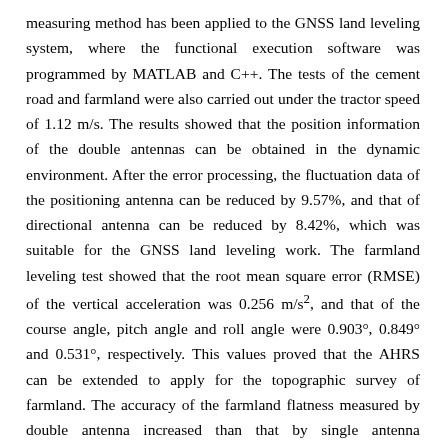measuring method has been applied to the GNSS land leveling system, where the functional execution software was programmed by MATLAB and C++. The tests of the cement road and farmland were also carried out under the tractor speed of 1.12 m/s. The results showed that the position information of the double antennas can be obtained in the dynamic environment. After the error processing, the fluctuation data of the positioning antenna can be reduced by 9.57%, and that of directional antenna can be reduced by 8.42%, which was suitable for the GNSS land leveling work. The farmland leveling test showed that the root mean square error (RMSE) of the vertical acceleration was 0.256 m/s², and that of the course angle, pitch angle and roll angle were 0.903°, 0.849° and 0.531°, respectively. This values proved that the AHRS can be extended to apply for the topographic survey of farmland. The accuracy of the farmland flatness measured by double antenna increased than that by single antenna topographic survey, ranking in the order of three different areas (35 m×50 m, 35 m×100 m and 35 m×200 m) by 14.286%, 14.063% and 10.084%, respectively, the accuracy of the maximum differential elevation error increased by 8.642%, 8.333% and 8.897%, respectively, and the accuracy of the